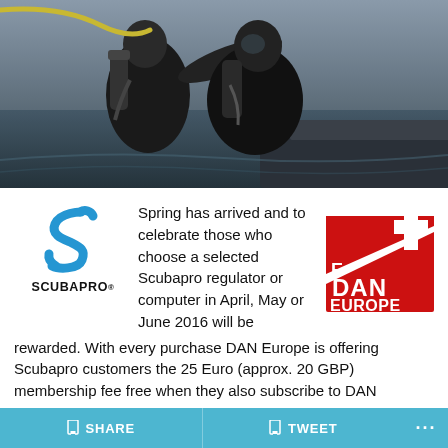[Figure (photo): Two divers in black wetsuits with scuba equipment on a boat, one pointing into the distance, ocean background]
[Figure (logo): Scubapro logo - blue S curl shape with SCUBAPRO text below]
Spring has arrived and to celebrate those who choose a selected Scubapro regulator or computer in April, May or June 2016 will be rewarded. With every purchase DAN Europe is offering Scubapro customers the 25 Euro (approx. 20 GBP) membership fee free when they also subscribe to DAN
[Figure (logo): DAN Europe logo - red rectangle with white dive flag diagonal stripe and plus sign, E DAN EUROPE text]
SHARE   TWEET   ...